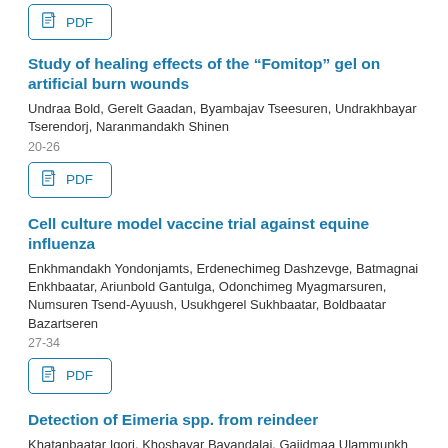[Figure (other): PDF button (partial, clipped at top)]
Study of healing effects of the “Fomitop” gel on artificial burn wounds
Undraa Bold, Gerelt Gaadan, Byambajav Tseesuren, Undrakhbayar Tserendorj, Naranmandakh Shinen
20-26
[Figure (other): PDF button]
Cell culture model vaccine trial against equine influenza
Enkhmandakh Yondonjamts, Erdenechimeg Dashzevge, Batmagnai Enkhbaatar, Ariunbold Gantulga, Odonchimeg Myagmarsuren, Numsuren Tsend-Ayuush, Usukhgerel Sukhbaatar, Boldbaatar Bazartseren
27-34
[Figure (other): PDF button]
Detection of Eimeria spp. from reindeer
Khatanbaatar Igori, Khoshayar Bayandalai, Gaiidmaa Ulammunkh...